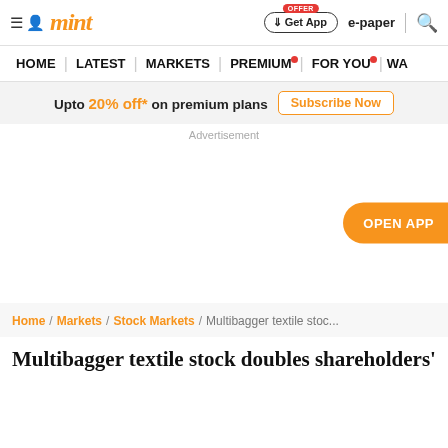mint — Get App | e-paper | Search
HOME | LATEST | MARKETS | PREMIUM | FOR YOU | WA
Upto 20% off* on premium plans  Subscribe Now
Advertisement
OPEN APP
Home / Markets / Stock Markets / Multibagger textile stoc...
Multibagger textile stock doubles shareholders'